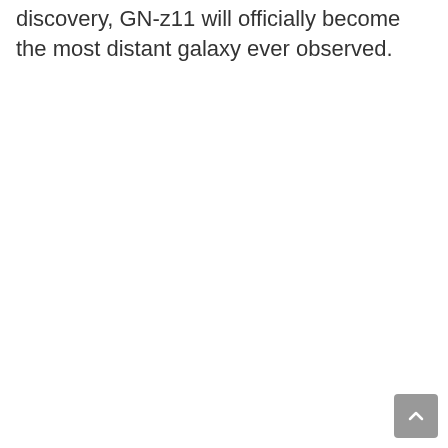discovery, GN-z11 will officially become the most distant galaxy ever observed.